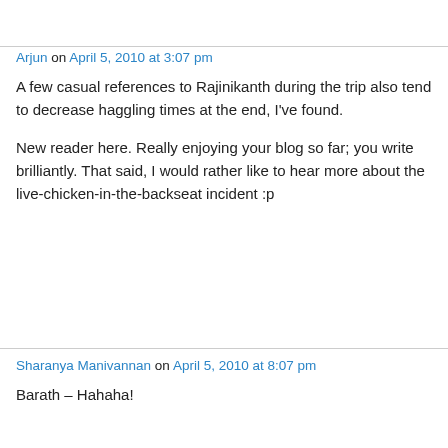Arjun on April 5, 2010 at 3:07 pm
A few casual references to Rajinikanth during the trip also tend to decrease haggling times at the end, I've found.
New reader here. Really enjoying your blog so far; you write brilliantly. That said, I would rather like to hear more about the live-chicken-in-the-backseat incident :p
Sharanya Manivannan on April 5, 2010 at 8:07 pm
Barath – Hahaha!